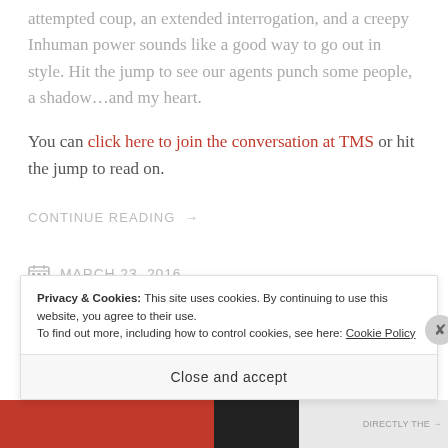attempted coup, an extended interrogation, and a creepy Inhuman power sounds like a good way to go out in style. Hit the jump to see our agents punch some people, a shadow…and my heart.
You can click here to join the conversation at TMS or hit the jump to read on.
CONTINUE READING →
MARCH 23, 2016
Privacy & Cookies: This site uses cookies. By continuing to use this website, you agree to their use. To find out more, including how to control cookies, see here: Cookie Policy
Close and accept